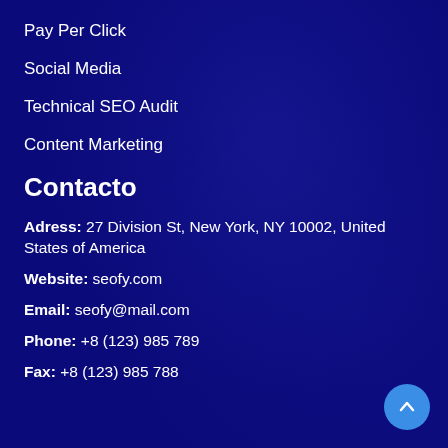Pay Per Click
Social Media
Technical SEO Audit
Content Marketing
Contacto
Adress: 27 Division St, New York, NY 10002, United States of America
Website: seofy.com
Email: seofy@mail.com
Phone: +8 (123) 985 789
Fax: +8 (123) 985 788